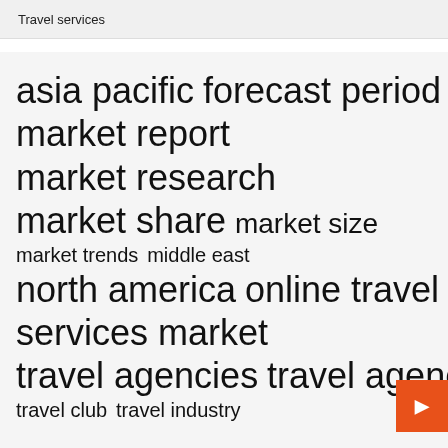Travel services
asia pacific  forecast period  market report  market research  market share  market size  market trends  middle east  north america  online travel  services market  travel agencies  travel agency  travel club  travel industry